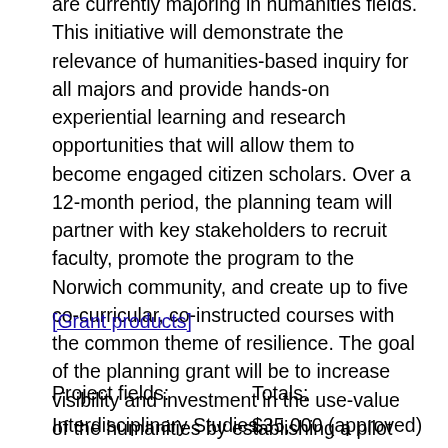are currently majoring in humanities fields. This initiative will demonstrate the relevance of humanities-based inquiry for all majors and provide hands-on experiential learning and research opportunities that will allow them to become engaged citizen scholars. Over a 12-month period, the planning team will partner with key stakeholders to recruit faculty, promote the program to the Norwich community, and create up to five co-curricular, co-instructed courses with the common theme of resilience. The goal of the planning grant will be to increase visibility and investment in the use-value of the humanities by establishing a pilot curriculum to be implemented in Fall 2019, aligning with Norwich's bicentennial.
[Grant products]
Project fields:
Interdisciplinary Studies,
Totals:
$35,000 (approved)